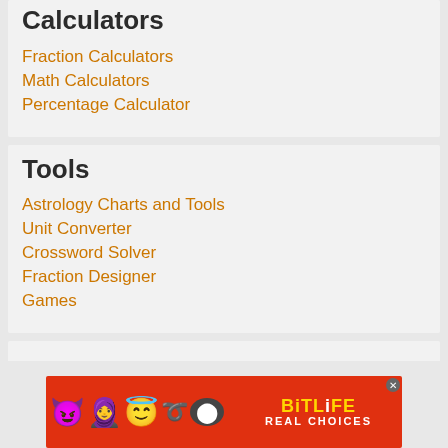Calculators
Fraction Calculators
Math Calculators
Percentage Calculator
Tools
Astrology Charts and Tools
Unit Converter
Crossword Solver
Fraction Designer
Games
[Figure (photo): BitLife advertisement banner with emoji characters and 'REAL CHOICES' text on red background]